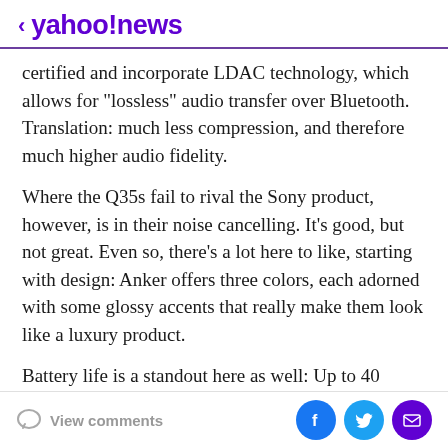< yahoo!news
certified and incorporate LDAC technology, which allows for "lossless" audio transfer over Bluetooth. Translation: much less compression, and therefore much higher audio fidelity.
Where the Q35s fail to rival the Sony product, however, is in their noise cancelling. It's good, but not great. Even so, there's a lot here to like, starting with design: Anker offers three colors, each adorned with some glossy accents that really make them look like a luxury product.
Battery life is a standout here as well: Up to 40 hours, according to Anker. I especially like Anker's companion app, which affords control over equalizer settings and
View comments